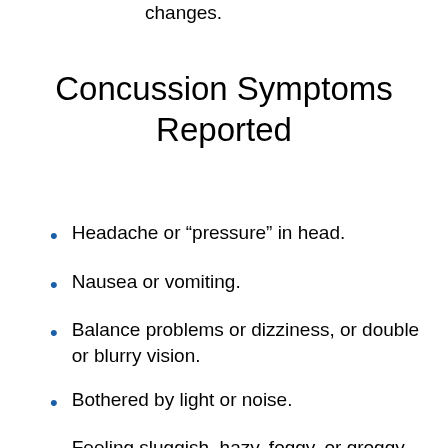changes.
Concussion Symptoms Reported
Headache or “pressure” in head.
Nausea or vomiting.
Balance problems or dizziness, or double or blurry vision.
Bothered by light or noise.
Feeling sluggish, hazy, foggy, or groggy.
Confusion, or concentration or memory problems.